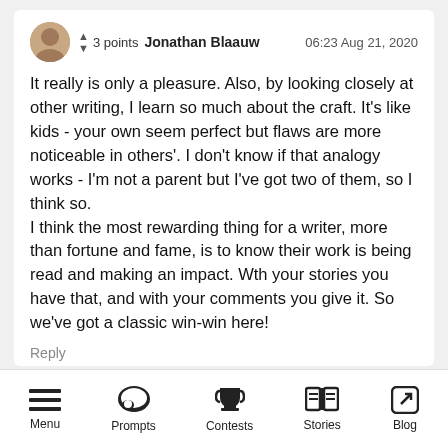▲ ▼ 3 points  Jonathan Blaauw  06:23 Aug 21, 2020
It really is only a pleasure. Also, by looking closely at other writing, I learn so much about the craft. It's like kids - your own seem perfect but flaws are more noticeable in others'. I don't know if that analogy works - I'm not a parent but I've got two of them, so I think so.
I think the most rewarding thing for a writer, more than fortune and fame, is to know their work is being read and making an impact. Wth your stories you have that, and with your comments you give it. So we've got a classic win-win here!
Reply
Menu  Prompts  Contests  Stories  Blog